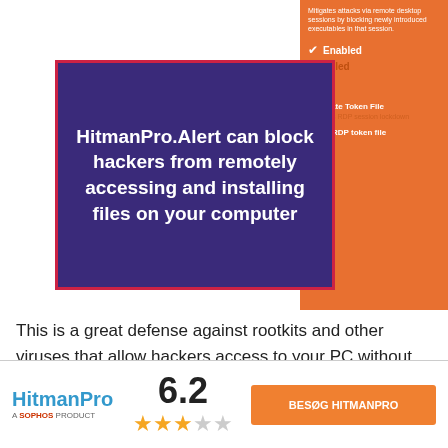[Figure (screenshot): Purple box with bold white text: 'HitmanPro.Alert can block hackers from remotely accessing and installing files on your computer'. Orange UI panel on right showing Mitigates attacks text, Enabled/Disabled options, Generate Token File, Prevents RDP session lockdown, Verify RDP token file.]
This is a great defense against rootkits and other viruses that allow hackers access to your PC without you knowing, and it worked really well in my testing. I tried a remote session on my PC and
HitmanPro A SOPHOS PRODUCT 6.2 ★★★☆☆ BESØG HITMANPRO